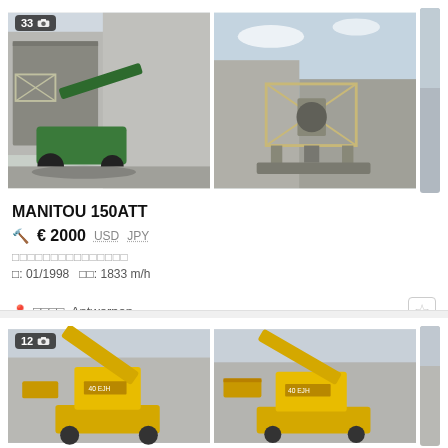[Figure (photo): Green Manitou 150ATT boom lift / articulated aerial work platform, front-left view in a yard]
[Figure (photo): Manitou 150ATT boom lift viewed from the rear/front showing the work platform basket, outdoors]
MANITOU 150ATT
🔨 € 2000  USD  JPY
□□□□□□□□□□□□□□□
□: 01/1998   □□: 1833 m/h
📍 □□□□, Antwerpen
[Figure (photo): Yellow boom lift / aerial work platform partial view, showing the boom arm and basket]
[Figure (photo): Second yellow boom lift aerial work platform, partial view]